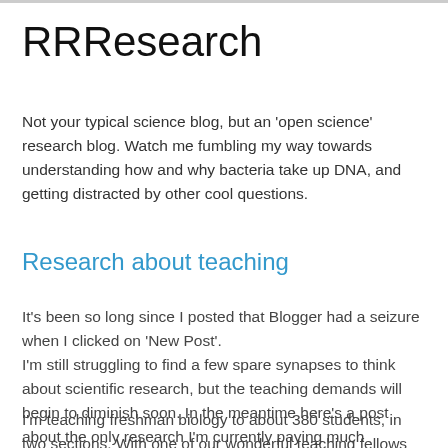RRResearch
Not your typical science blog, but an 'open science' research blog. Watch me fumbling my way towards understanding how and why bacteria take up DNA, and getting distracted by other cool questions.
Research about teaching
It's been so long since I posted that Blogger had a seizure when I clicked on 'New Post'. I'm still struggling to find a few spare synapses to think about scientific research, but the teaching demands will begin to diminish soon. In the meantime here's a post about the only research I'm currently paying much attention to.
I'm teaching freshman biology to about 380 students, in two sections. With one of our wonderful teaching fellows